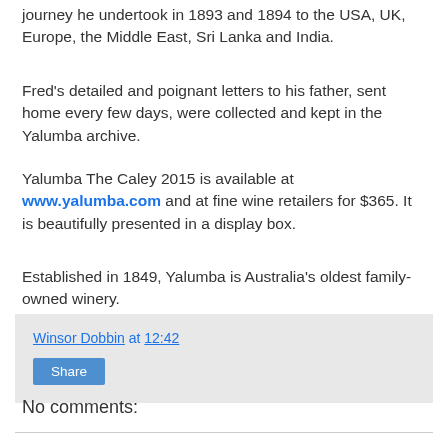journey he undertook in 1893 and 1894 to the USA, UK, Europe, the Middle East, Sri Lanka and India.
Fred's detailed and poignant letters to his father, sent home every few days, were collected and kept in the Yalumba archive.
Yalumba The Caley 2015 is available at www.yalumba.com and at fine wine retailers for $365. It is beautifully presented in a display box.
Established in 1849, Yalumba is Australia's oldest family-owned winery.
Winsor Dobbin at 12:42
Share
No comments: